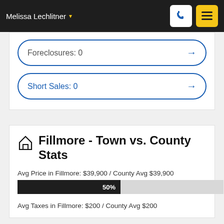Melissa Lechlitner
Foreclosures: 0
Short Sales: 0
Fillmore - Town vs. County Stats
Avg Price in Fillmore: $39,900 / County Avg $39,900
[Figure (bar-chart): Avg Price Progress]
Avg Taxes in Fillmore: $200 / County Avg $200